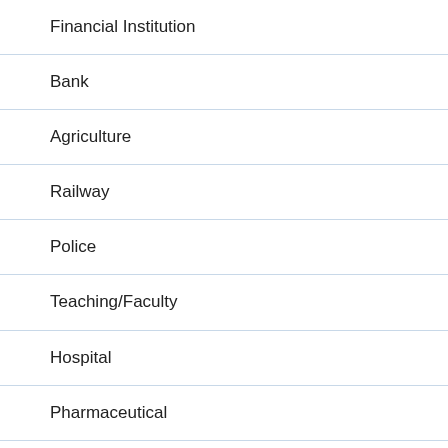| Financial Institution |
| Bank |
| Agriculture |
| Railway |
| Police |
| Teaching/Faculty |
| Hospital |
| Pharmaceutical |